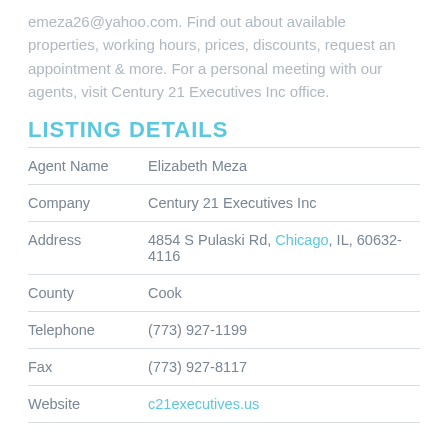emeza26@yahoo.com. Find out about available properties, working hours, prices, discounts, request an appointment & more. For a personal meeting with our agents, visit Century 21 Executives Inc office.
LISTING DETAILS
| Agent Name | Elizabeth Meza |
| Company | Century 21 Executives Inc |
| Address | 4854 S Pulaski Rd, Chicago, IL, 60632-4116 |
| County | Cook |
| Telephone | (773) 927-1199 |
| Fax | (773) 927-8117 |
| Website | c21executives.us |